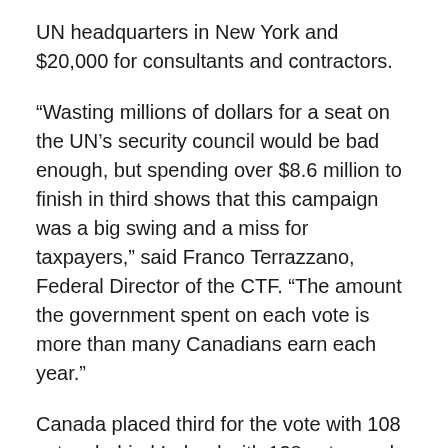UN headquarters in New York and $20,000 for consultants and contractors.
“Wasting millions of dollars for a seat on the UN’s security council would be bad enough, but spending over $8.6 million to finish in third shows that this campaign was a big swing and a miss for taxpayers,” said Franco Terrazzano, Federal Director of the CTF. “The amount the government spent on each vote is more than many Canadians earn each year.”
Canada placed third for the vote with 108 votes, behind Ireland with 128 votes and Norway with 130. So far the campaign has cost taxpayers $80,227 per vote.
Canada, when compared to Norway and Ireland, never had a chance at beating them for the vote. Considering